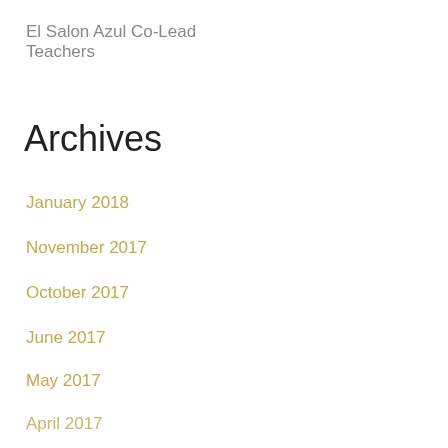El Salon Azul Co-Lead Teachers
Archives
January 2018
November 2017
October 2017
June 2017
May 2017
April 2017
March 2017
February 2017
January 2017